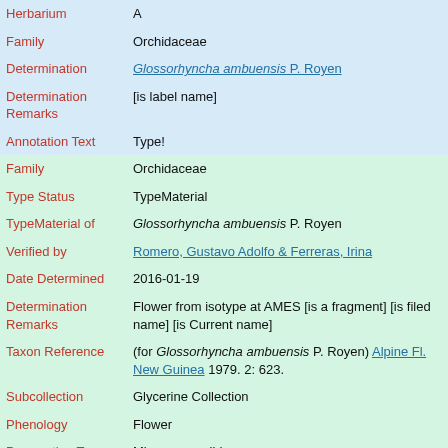| Field | Value |
| --- | --- |
| Herbarium | A |
| Family | Orchidaceae |
| Determination | Glossorhyncha ambuensis P. Royen |
| Determination Remarks | [is label name] |
| Annotation Text | Type! |
| Family | Orchidaceae |
| Type Status | TypeMaterial |
| TypeMaterial of | Glossorhyncha ambuensis P. Royen |
| Verified by | Romero, Gustavo Adolfo & Ferreras, Irina |
| Date Determined | 2016-01-19 |
| Determination Remarks | Flower from isotype at AMES [is a fragment] [is filed name] [is Current name] |
| Taxon Reference | (for Glossorhyncha ambuensis P. Royen) Alpine Fl. New Guinea 1979. 2: 623. |
| Subcollection | Glycerine Collection |
| Phenology | Flower |
| Preparation Type | Microscope slide |
| Preparation | Glycerine |